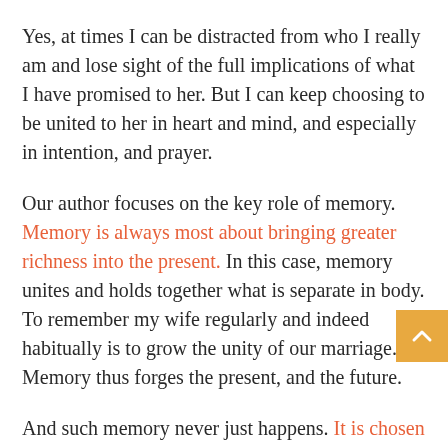Yes, at times I can be distracted from who I really am and lose sight of the full implications of what I have promised to her. But I can keep choosing to be united to her in heart and mind, and especially in intention, and prayer.
Our author focuses on the key role of memory. Memory is always most about bringing greater richness into the present. In this case, memory unites and holds together what is separate in body. To remember my wife regularly and indeed habitually is to grow the unity of our marriage. Memory thus forges the present, and the future.
And such memory never just happens. It is chosen and cultivated. Again and again every